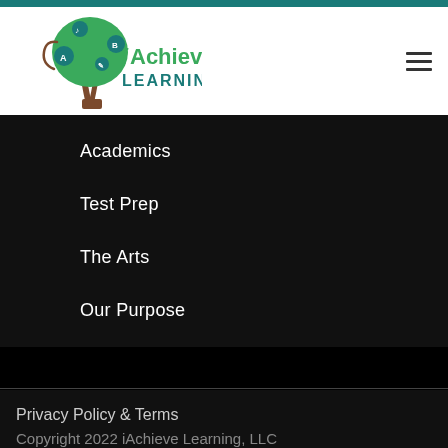[Figure (logo): iAchieve Learning logo with a stylized tree made of academic and artistic icons, with brown trunk and green foliage, text reading 'iAchieve LEARNING']
Academics
Test Prep
The Arts
Our Purpose
Privacy Policy & Terms
Copyright 2022 iAchieve Learning, LLC